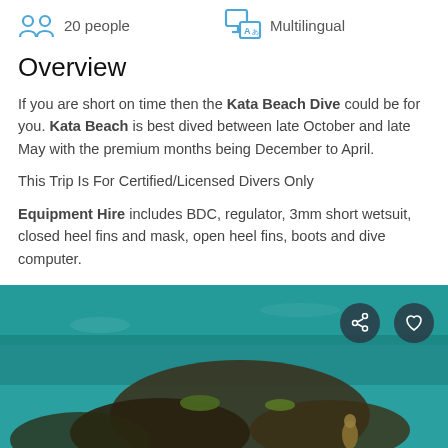20 people
Multilingual
Overview
If you are short on time then the Kata Beach Dive could be for you. Kata Beach is best dived between late October and late May with the premium months being December to April.
This Trip Is For Certified/Licensed Divers Only
Equipment Hire includes BDC, regulator, 3mm short wetsuit, closed heel fins and mask, open heel fins, boots and dive computer.
[Figure (photo): Underwater photo of a seahorse near rocky coral reef bottom with teal/turquoise water, share and heart buttons overlaid in top right corner]